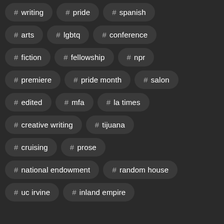# writing
# pride
# spanish
# arts
# lgbtq
# conference
# fiction
# fellowship
# npr
# premiere
# pride month
# salon
# edited
# mfa
# la times
# creative writing
# tijuana
# cruising
# prose
# national endowment
# random house
# uc irvine
# inland empire